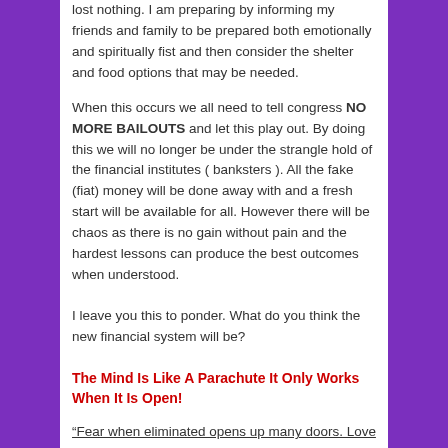lost nothing. I am preparing by informing my friends and family to be prepared both emotionally and spiritually fist and then consider the shelter and food options that may be needed.
When this occurs we all need to tell congress NO MORE BAILOUTS and let this play out. By doing this we will no longer be under the strangle hold of the financial institutes ( banksters ). All the fake (fiat) money will be done away with and a fresh start will be available for all. However there will be chaos as there is no gain without pain and the hardest lessons can produce the best outcomes when understood.
I leave you this to ponder. What do you think the new financial system will be?
The Mind Is Like A Parachute It Only Works When It Is Open!
“Fear when eliminated opens up many doors. Love when understood keeps those doors open.”